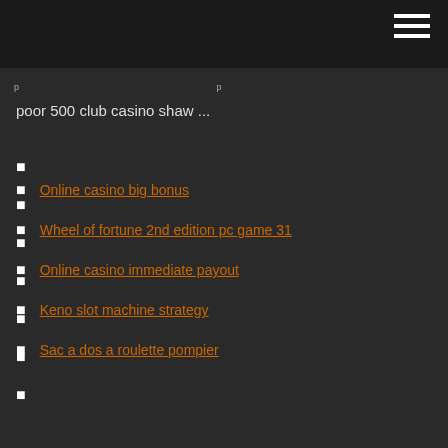poor 500 club casino shaw ...
Online casino big bonus
Wheel of fortune 2nd edition pc game 31
Online casino immediate payout
Keno slot machine strategy
Sac a dos a roulette pompier